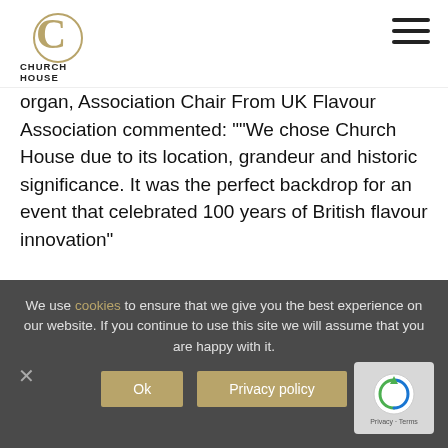[Figure (logo): Church House Westminster logo — circular C mark above text 'CHURCH HOUSE WESTMINSTER']
organ, Association Chair From UK Flavour Association commented: ""We chose Church House due to its location, grandeur and historic significance. It was the perfect backdrop for an event that celebrated 100 years of British flavour innovation"
More news posts
We use cookies to ensure that we give you the best experience on our website. If you continue to use this site we will assume that you are happy with it.
Ok
Privacy policy